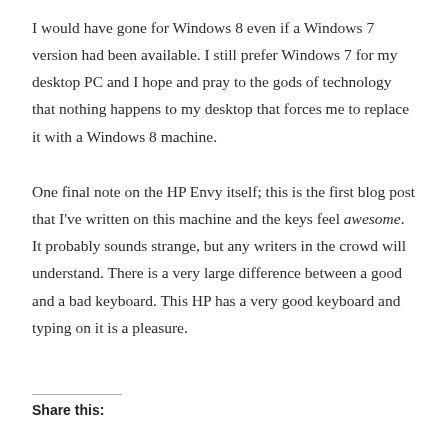I would have gone for Windows 8 even if a Windows 7 version had been available. I still prefer Windows 7 for my desktop PC and I hope and pray to the gods of technology that nothing happens to my desktop that forces me to replace it with a Windows 8 machine.
One final note on the HP Envy itself; this is the first blog post that I've written on this machine and the keys feel awesome. It probably sounds strange, but any writers in the crowd will understand. There is a very large difference between a good and a bad keyboard. This HP has a very good keyboard and typing on it is a pleasure.
Share this: